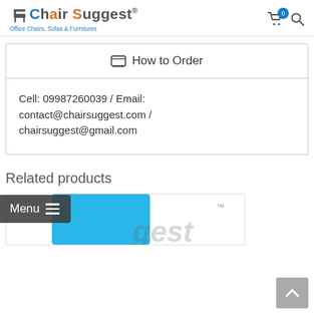Chair Suggest - Office Chairs, Sofas & Furnitures
How to Order
Cell: 09987260039 / Email: contact@chairsuggest.com / chairsuggest@gmail.com
Related products
[Figure (screenshot): Partial product card showing blue graphic and Chair Suggest logo watermark]